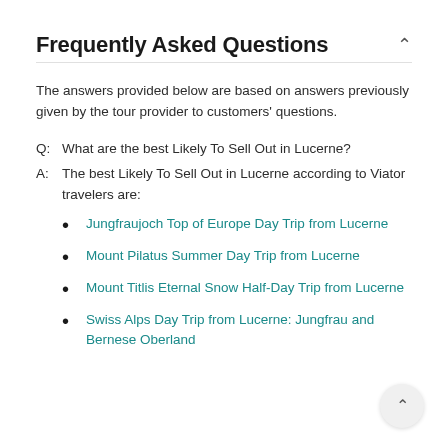Frequently Asked Questions
The answers provided below are based on answers previously given by the tour provider to customers' questions.
Q:  What are the best Likely To Sell Out in Lucerne?
A:  The best Likely To Sell Out in Lucerne according to Viator travelers are:
Jungfraujoch Top of Europe Day Trip from Lucerne
Mount Pilatus Summer Day Trip from Lucerne
Mount Titlis Eternal Snow Half-Day Trip from Lucerne
Swiss Alps Day Trip from Lucerne: Jungfrau and Bernese Oberland